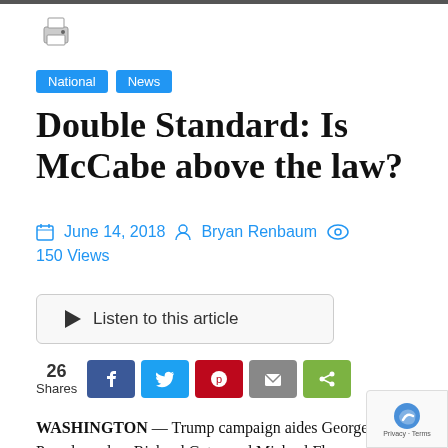[Figure (illustration): Printer icon]
National  News
Double Standard: Is McCabe above the law?
June 14, 2018  Bryan Renbaum  150 Views
▶ Listen to this article
26 Shares [Facebook] [Twitter] [Pinterest] [Email] [Share]
WASHINGTON — Trump campaign aides George Papadopoulos, Richard Gates and Michael Flynn have been indicted in the past year or have been found